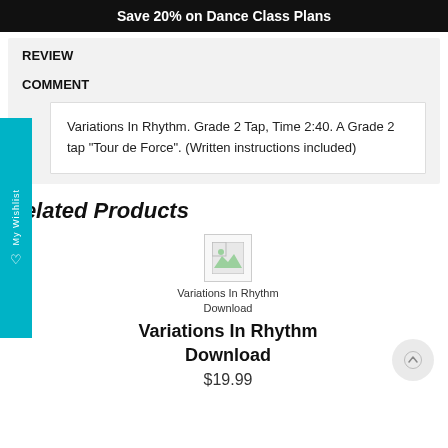Save 20% on Dance Class Plans
REVIEW
COMMENT
Variations In Rhythm. Grade 2 Tap, Time 2:40. A Grade 2 tap "Tour de Force". (Written instructions included)
Related Products
[Figure (photo): Placeholder image for Variations In Rhythm Download product]
Variations In Rhythm Download
Variations In Rhythm Download
$19.99